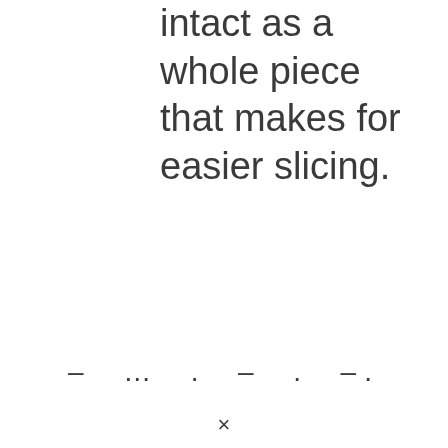intact as a whole piece that makes for easier slicing.
– ... . – . –.
×